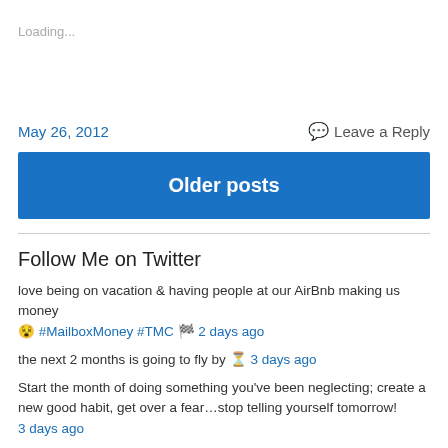Loading...
May 26, 2012
Leave a Reply
Older posts
Follow Me on Twitter
love being on vacation & having people at our AirBnb making us money 😵 #MailboxMoney #TMC 🏁 2 days ago
the next 2 months is going to fly by ⏳ 3 days ago
Start the month of doing something you've been neglecting; create a new good habit, get over a fear…stop telling yourself tomorrow! 3 days ago